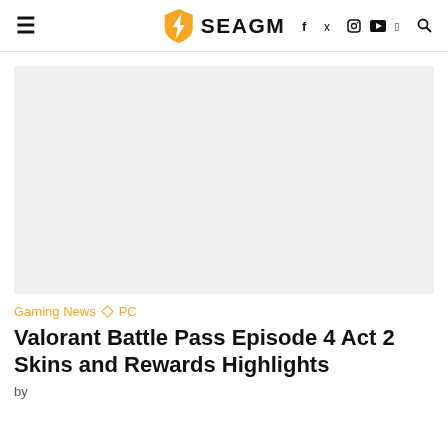SEAGM — Gaming News | PC
[Figure (photo): Hero image placeholder — light gray rectangle representing the article's featured image]
Gaming News ◇ PC
Valorant Battle Pass Episode 4 Act 2 Skins and Rewards Highlights
by ...